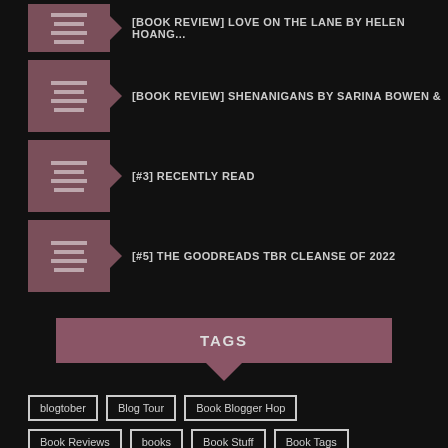[BOOK REVIEW] LOVE ON THE LANE BY HELEN...
[BOOK REVIEW] SHENANIGANS BY SARINA BOWEN &
[#3] RECENTLY READ
[#5] THE GOODREADS TBR CLEANSE OF 2022
TAGS
blogtober
Blog Tour
Book Blogger Hop
Book Reviews
books
Book Stuff
Book Tags
cover reveal
GoodReads Clean Up
It's Monday What Are You Reading?
Lets Talk